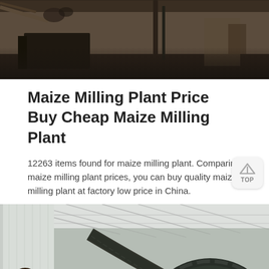[Figure (photo): Industrial interior photo showing machinery and equipment in a dark warehouse setting]
Maize Milling Plant Price Buy Cheap Maize Milling Plant
12263 items found for maize milling plant. Comparing maize milling plant prices, you can buy quality maize milling plant at factory low price in China.
[Figure (photo): Industrial photo of a large metal gear/cog mechanism inside a factory building with exposed roof structure]
Message   Online Chat